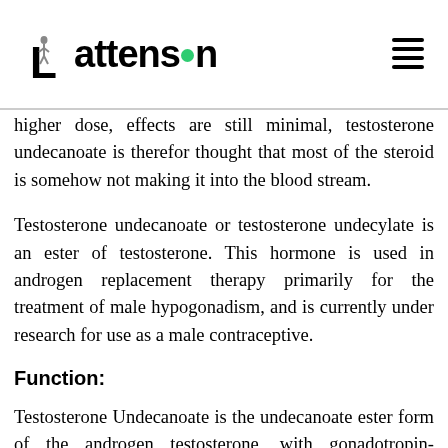Lattenson
higher dose, effects are still minimal, testosterone undecanoate is therefor thought that most of the steroid is somehow not making it into the blood stream.
Testosterone undecanoate or testosterone undecylate is an ester of testosterone. This hormone is used in androgen replacement therapy primarily for the treatment of male hypogonadism, and is currently under research for use as a male contraceptive.
Function:
Testosterone Undecanoate is the undecanoate ester form of the androgen testosterone, with gonadotropin-secretory inhibiting and hormone replacement activity. As testosterone inhibits the secretion of gonadotropins from